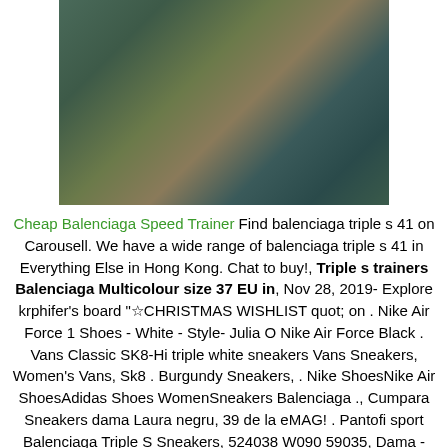[Figure (photo): Blurred product photo showing a dark teal/green and brown gradient background, likely a shoe photo that is out of focus.]
Cheap Balenciaga Speed Trainer Find balenciaga triple s 41 on Carousell. We have a wide range of balenciaga triple s 41 in Everything Else in Hong Kong. Chat to buy!, Triple s trainers Balenciaga Multicolour size 37 EU in, Nov 28, 2019- Explore krphifer's board "☆CHRISTMAS WISHLIST quot; on . Nike Air Force 1 Shoes - White - Style- Julia O Nike Air Force Black . Vans Classic SK8-Hi triple white sneakers Vans Sneakers, Women's Vans, Sk8 . Burgundy Sneakers, . Nike ShoesNike Air ShoesAdidas Shoes WomenSneakers Balenciaga ., Cumpara Sneakers dama Laura negru, 39 de la eMAG! . Pantofi sport Balenciaga Triple S Sneakers, 524038 W090 59035, Dama - Roz/Galben, 39 EU